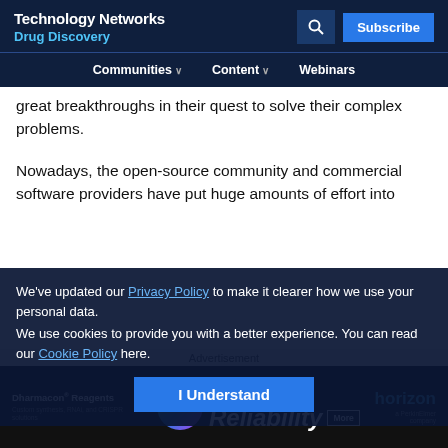Technology Networks Drug Discovery — Communities | Content | Webinars — Subscribe
great breakthroughs in their quest to solve their complex problems.
Nowadays, the open-source community and commercial software providers have put huge amounts of effort into
We've updated our Privacy Policy to make it clearer how we use your personal data. We use cookies to provide you with a better experience. You can read our Cookie Policy here.
I Understand
Advertisement
[Figure (photo): Dharmacon Reagents advertisement banner — Infinite Reliability — horizon a PerkinElmer company]